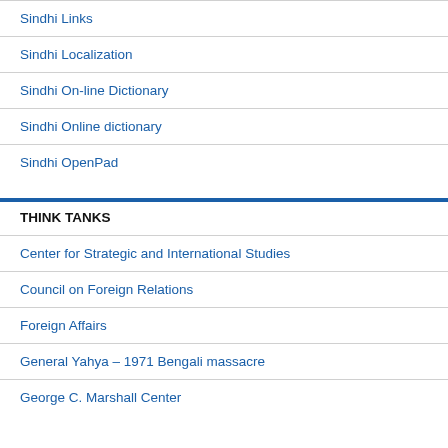Sindhi Links
Sindhi Localization
Sindhi On-line Dictionary
Sindhi Online dictionary
Sindhi OpenPad
THINK TANKS
Center for Strategic and International Studies
Council on Foreign Relations
Foreign Affairs
General Yahya – 1971 Bengali massacre
George C. Marshall Center